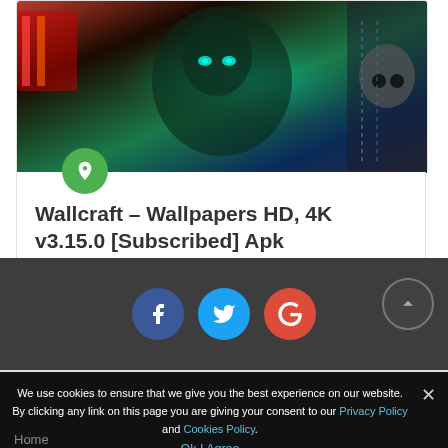[Figure (illustration): Dark fantasy wallpaper featuring a wolf with glowing eyes and other stylized characters with neon lighting]
Wallcraft – Wallpapers HD, 4K v3.15.0 [Subscribed] Apk
24/07/2022
[Figure (other): Social media share buttons: Facebook, Twitter, Google Plus]
We use cookies to ensure that we give you the best experience on our website. By clicking any link on this page you are giving your consent to our Privacy Policy and Cookies Policy.
Ok I Agree
Home